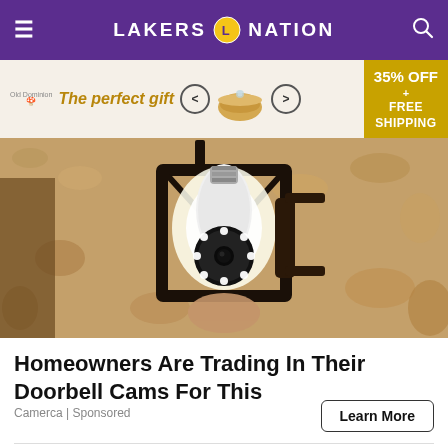LAKERS NATION
[Figure (photo): Advertisement banner: 'The perfect gift' with food bowl image and '35% OFF + FREE SHIPPING' offer]
[Figure (photo): Close-up photo of a security camera light bulb being installed into an outdoor wall lantern fixture on a textured stucco wall]
Homeowners Are Trading In Their Doorbell Cams For This
Camerca | Sponsored
Learn More